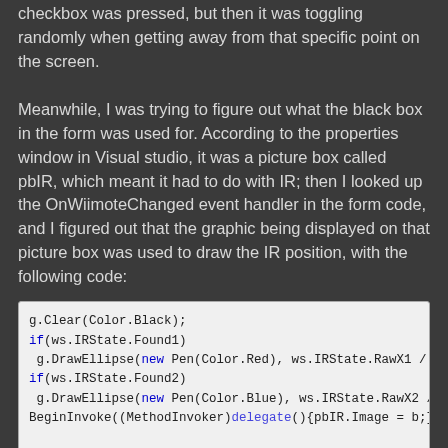checkbox was pressed, but then it was toggling randomly when getting away from that specific point on the screen.
Meanwhile, I was trying to figure out what the black box in the form was used for. According to the properties window in Visual studio, it was a picture box called pbIR, which meant it had to do with IR; then I looked up the OnWiimoteChanged event handler in the form code, and I figured out that the graphic being displayed on that picture box was used to draw the IR position, with the following code:
g.Clear(Color.Black);
if(ws.IRState.Found1)
 g.DrawEllipse(new Pen(Color.Red), ws.IRState.RawX1 / 4, ws.IRStat
if(ws.IRState.Found2)
 g.DrawEllipse(new Pen(Color.Blue), ws.IRState.RawX2 / 4, ws.IRSta
BeginInvoke((MethodInvoker)delegate(){pbIR.Image = b;});
So basically this code was updating a picture (for IR) position